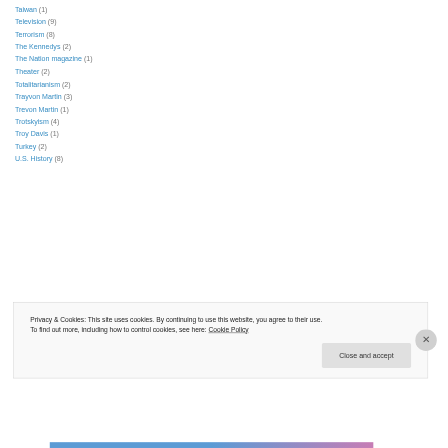Taiwan (1)
Television (9)
Terrorism (8)
The Kennedys (2)
The Nation magazine (1)
Theater (2)
Totalitarianism (2)
Trayvon Martin (3)
Trevon Martin (1)
Trotskyism (4)
Troy Davis (1)
Turkey (2)
U.S. History (8)
Privacy & Cookies: This site uses cookies. By continuing to use this website, you agree to their use. To find out more, including how to control cookies, see here: Cookie Policy
Close and accept